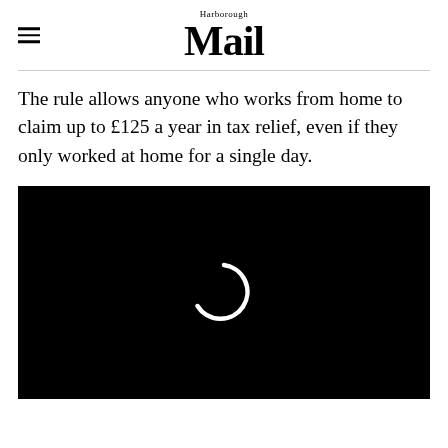Harborough Mail
The rule allows anyone who works from home to claim up to £125 a year in tax relief, even if they only worked at home for a single day.
[Figure (screenshot): Black video player with a white loading spinner circle in the center]